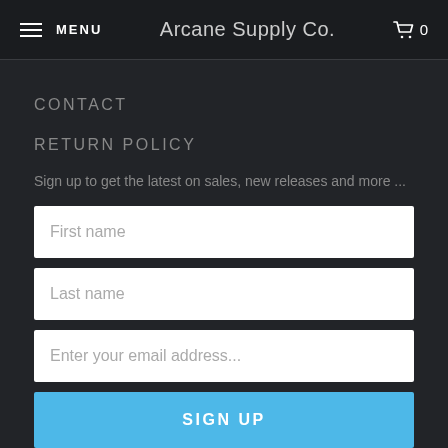≡ MENU   Arcane Supply Co.   🛒 0
CONTACT
RETURN POLICY
Sign up to get the latest on sales, new releases and more ...
First name
Last name
Enter your email address...
SIGN UP